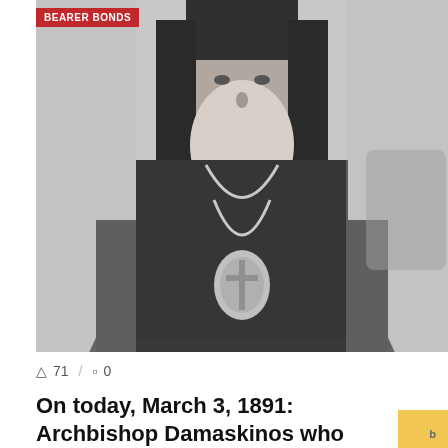[Figure (photo): Black and white photograph of Archbishop Damaskinos, an elderly bearded man in Orthodox Christian clerical robes and headdress, wearing a large ornate pectoral cross on a chain, seated]
BEARER BONDS
71  /  0
On today, March 3, 1891: Archbishop Damaskinos who challenged the Nazis was born.